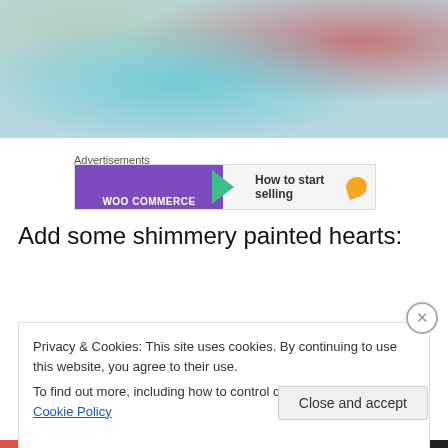[Figure (photo): Close-up photograph of colorful painted/textured artwork with teal, red, and mixed colors on what appears to be a canvas or paper surface]
Advertisements
[Figure (screenshot): WooCommerce advertisement banner showing purple left section with WooCommerce logo and arrow, right section with text 'How to start selling' and orange shape]
Add some shimmery painted hearts:
[Figure (photo): Photo of craft supplies including jars of paint in dark and teal colors]
Privacy & Cookies: This site uses cookies. By continuing to use this website, you agree to their use.
To find out more, including how to control cookies, see here: Cookie Policy
Close and accept